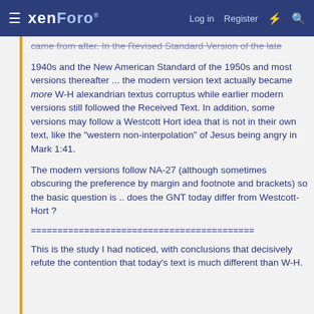xenForo  Log in  Register
came from after. In the Revised Standard Version of the late 1940s and the New American Standard of the 1950s and most versions thereafter ... the modern version text actually became more W-H alexandrian textus corruptus while earlier modern versions still followed the Received Text. In addition, some versions may follow a Westcott Hort idea that is not in their own text, like the "western non-interpolation" of Jesus being angry in Mark 1:41.
The modern versions follow NA-27 (although sometimes obscuring the preference by margin and footnote and brackets) so the basic question is .. does the GNT today differ from Westcott-Hort ?
==========================================
This is the study I had noticed, with conclusions that decisively refute the contention that today's text is much different than W-H.